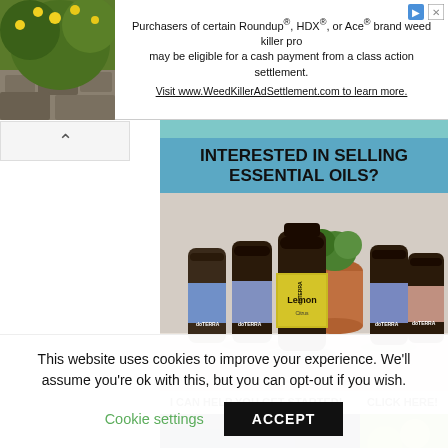[Figure (screenshot): Advertisement banner for Weed Killer class action settlement with plant photo on left and text on right]
Purchasers of certain Roundup®, HDX®, or Ace® brand weed killer products may be eligible for a cash payment from a class action settlement. Visit www.WeedKillerAdSettlement.com to learn more.
[Figure (photo): doTERRA essential oil bottles arranged together, with Lemon oil bottle in foreground]
INTERESTED IN SELLING ESSENTIAL OILS?
I CAN HELP YOU GET STARTED!
CLICK HERE!
[Figure (photo): HOW TO section image with dark blue background and fruits/vegetables on right side]
HOW TO
This website uses cookies to improve your experience. We'll assume you're ok with this, but you can opt-out if you wish.
Cookie settings
ACCEPT